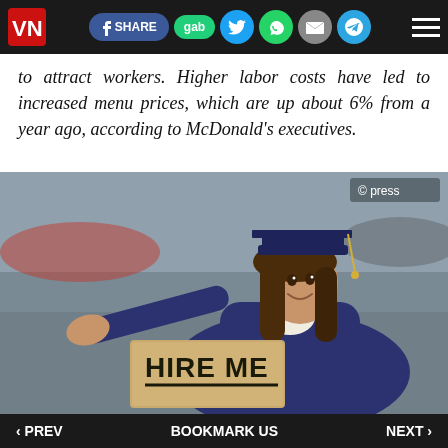VN | f SHARE | gab | Twitter | WhatsApp | Email | Telegram | Menu
to attract workers. Higher labor costs have led to increased menu prices, which are up about 6% from a year ago, according to McDonald's executives.
[Figure (photo): College graduate in navy cap and gown holding a cardboard sign reading 'HIRE ME', gesturing with outstretched arm. Blurred parking lot background. © press watermark.]
The disappointing job market results occurred as college enrollment rates began to drop precipitously.
‹ PREV   BOOKMARK US   NEXT ›